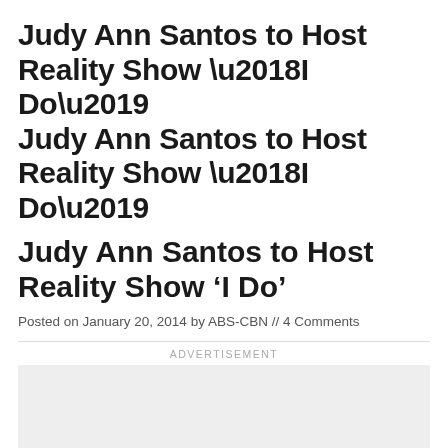Judy Ann Santos to Host Reality Show ‘I Do’
Posted on January 20, 2014 by ABS-CBN // 4 Comments
[Figure (other): Advertisement placeholder box with 'Ad' label in center]